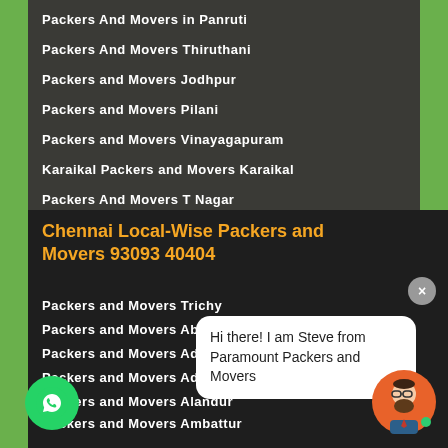Packers And Movers in Panruti
Packers And Movers Thiruthani
Packers and Movers Jodhpur
Packers and Movers Pilani
Packers and Movers Vinayagapuram
Karaikal Packers and Movers Karaikal
Packers And Movers T Nagar
Chennai Local-Wise Packers and Movers 93093 40404
Packers and Movers Trichy
Packers and Movers Abhiramapuram
Packers and Movers Adambakkam
Packers and Movers Adyar
Packers and Movers Alandur
Packers and Movers Ambattur
Packers and Movers Aminjikara
Packers and Movers Anakaputhur
Hi there! I am Steve from Paramount Packers and Movers
[Figure (illustration): WhatsApp green circular button with WhatsApp phone icon]
[Figure (illustration): Avatar illustration of a bearded man with glasses, circular orange background with green dot]